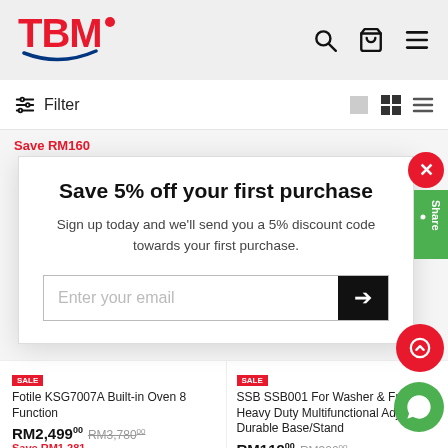[Figure (logo): TBM logo with red text and blue swoosh]
Filter
Save RM160
Save 5% off your first purchase
Sign up today and we'll send you a 5% discount code towards your first purchase.
Enter your email
Fotile KSG7007A Built-in Oven 8 Function
RM2,499.00  RM3,780.00  Save RM1,281
SSB SSB001 For Washer & Fridge Heavy Duty Multifunctional Adjustable Durable Base/Stand
RM119.00  RM300.00  Save RM181